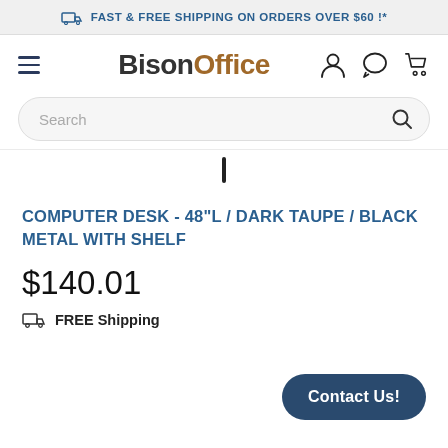FAST & FREE SHIPPING ON ORDERS OVER $60 !*
[Figure (screenshot): BisonOffice navigation bar with hamburger menu, logo, user account icon, chat icon, and cart icon]
[Figure (screenshot): Search bar with placeholder text 'Search' and search icon]
COMPUTER DESK - 48"L / DARK TAUPE / BLACK METAL WITH SHELF
$140.01
FREE Shipping